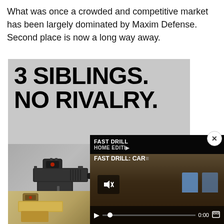What was once a crowded and competitive market has been largely dominated by Maxim Defense. Second place is now a long way away.
[Figure (photo): Advertisement image with bold text '3 SIBLINGS. NO RIVALRY.' over a grey background, showing a compact black pistol with red-dot sight, and 'COMPACT' label visible at bottom right. Below is a partial second image showing a gold/tan pistol. A video player overlay shows 'FAST DRILL: CAR...' with play controls and shooting range targets.]